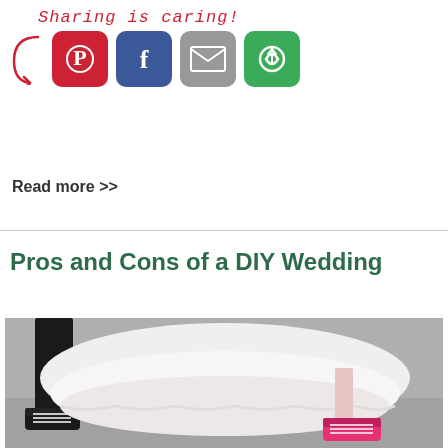[Figure (infographic): Sharing is caring! text with red cursive font and red arrow, four social share buttons: Pinterest (red), Facebook (blue), Email (grey), Share (green)]
Read more >>
Pros and Cons of a DIY Wedding
[Figure (photo): Photo of a couple's feet at a wedding — man in black pants and black Converse sneakers on the left, woman in a white layered lace wedding dress and bright pink Converse sneakers on the right, standing on a reflective floor indoors]